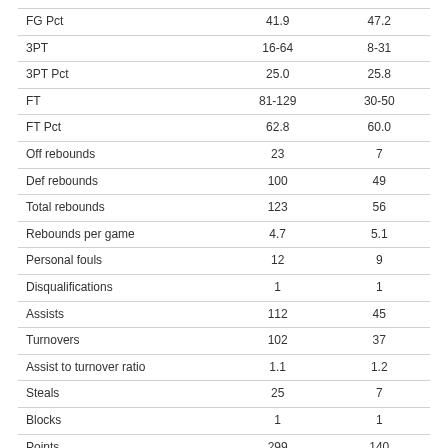| FG Pct | 41.9 | 47.2 |
| 3PT | 16-64 | 8-31 |
| 3PT Pct | 25.0 | 25.8 |
| FT | 81-129 | 30-50 |
| FT Pct | 62.8 | 60.0 |
| Off rebounds | 23 | 7 |
| Def rebounds | 100 | 49 |
| Total rebounds | 123 | 56 |
| Rebounds per game | 4.7 | 5.1 |
| Personal fouls | 12 | 9 |
| Disqualifications | 1 | 1 |
| Assists | 112 | 45 |
| Turnovers | 102 | 37 |
| Assist to turnover ratio | 1.1 | 1.2 |
| Steals | 25 | 7 |
| Blocks | 1 | 1 |
| Points | 299 | 140 |